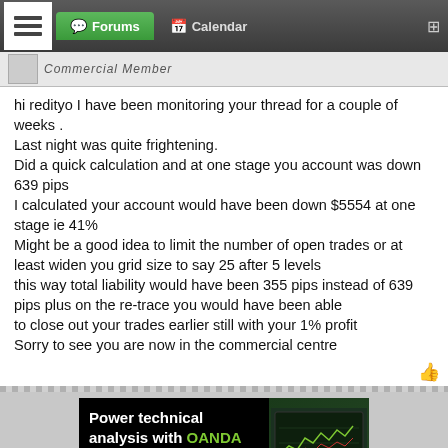Forums | Calendar | Commercial Member
hi redityo I have been monitoring your thread for a couple of weeks .
Last night was quite frightening.
Did a quick calculation and at one stage you account was down 639 pips
I calculated your account would have been down $5554 at one stage ie 41%
Might be a good idea to limit the number of open trades or at least widen you grid size to say 25 after 5 levels
this way total liability would have been 355 pips instead of 639 pips plus on the re-trace you would have been able
to close out your trades earlier still with your 1% profit
Sorry to see you are now in the commercial centre
[Figure (screenshot): OANDA advertisement banner: Power technical analysis with OANDA, Automated alerts and pattern recognition, with a trading chart screenshot]
1 ← Page 110 → 187
[Figure (infographic): OANDA broker advertisement: SWITCH TO A BROKER WITH INTEGRITY | OANDA TRADE NOW]